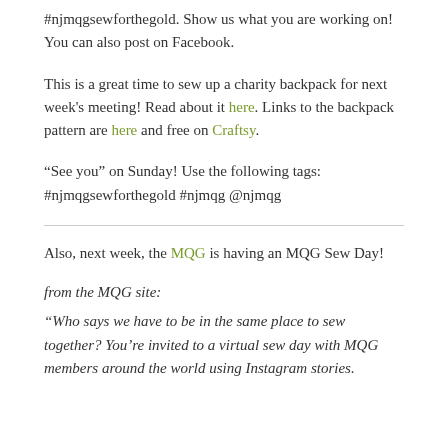#njmqgsewforthegold. Show us what you are working on! You can also post on Facebook.
This is a great time to sew up a charity backpack for next week's meeting! Read about it here. Links to the backpack pattern are here and free on Craftsy.
“See you” on Sunday! Use the following tags: #njmqgsewforthegold #njmqg @njmqg
Also, next week, the MQG is having an MQG Sew Day!
from the MQG site:
“Who says we have to be in the same place to sew together? You’re invited to a virtual sew day with MQG members around the world using Instagram stories.